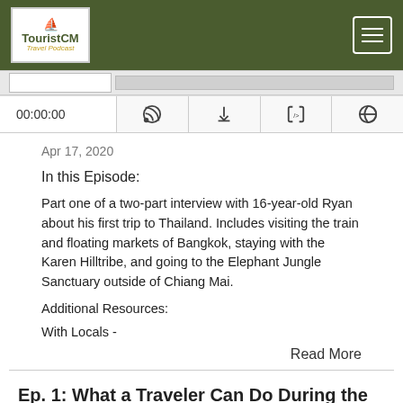TouristCM Travel Podcast — navigation bar
[Figure (screenshot): Podcast audio player with waveform, timestamp 00:00:00, and control icons (RSS, download, embed, share)]
Apr 17, 2020
In this Episode:
Part one of a two-part interview with 16-year-old Ryan about his first trip to Thailand. Includes visiting the train and floating markets of Bangkok, staying with the Karen Hilltribe, and going to the Elephant Jungle Sanctuary outside of Chiang Mai.
Additional Resources:
With Locals -
Read More
Ep. 1: What a Traveler Can Do During the COVID-19 Lockdown to Beat the